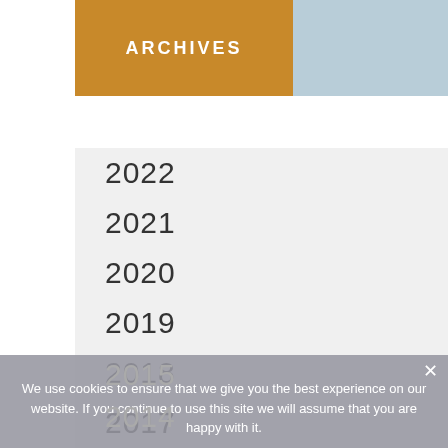ARCHIVES
2022
2021
2020
2019
2018
2017
2016
2015
2014
We use cookies to ensure that we give you the best experience on our website. If you continue to use this site we will assume that you are happy with it.
Ok   Privacy policy